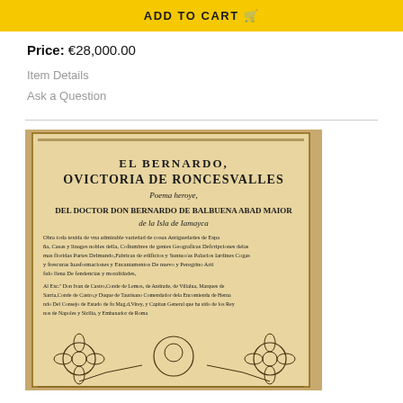ADD TO CART
Price: €28,000.00
Item Details
Ask a Question
[Figure (photo): Photograph of an old Spanish book title page: 'EL BERNARDO, O VICTORIA DE RONCES VALLES, Poema heroye, DEL DOCTOR DON BERNARDO DE BALBUENA ABAD MAIOR de la Isla de Jamaica'. The page includes decorative floral engravings at the bottom.]